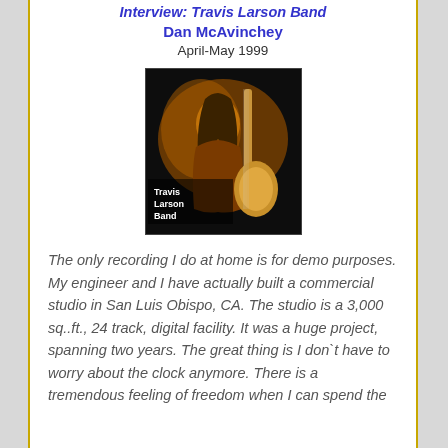Interview: Travis Larson Band
Dan McAvinchey
April-May 1999
[Figure (photo): Album cover art for Travis Larson Band showing a musician with long hair and a guitar against a dark background with text 'Travis Larson Band']
The only recording I do at home is for demo purposes. My engineer and I have actually built a commercial studio in San Luis Obispo, CA. The studio is a 3,000 sq..ft., 24 track, digital facility. It was a huge project, spanning two years. The great thing is I don`t have to worry about the clock anymore. There is a tremendous feeling of freedom when I can spend the